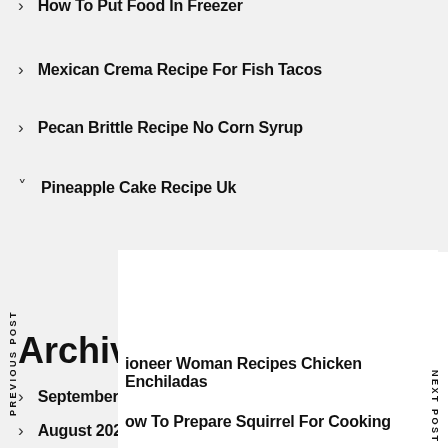How To Put Food In Freezer
Mexican Crema Recipe For Fish Tacos
Pecan Brittle Recipe No Corn Syrup
Pineapple Cake Recipe Uk
Pioneer Woman Recipes Chicken Enchiladas
How To Prepare Squirrel For Cooking
Native American Recipes Vegan
Archives
September 2022
August 2022